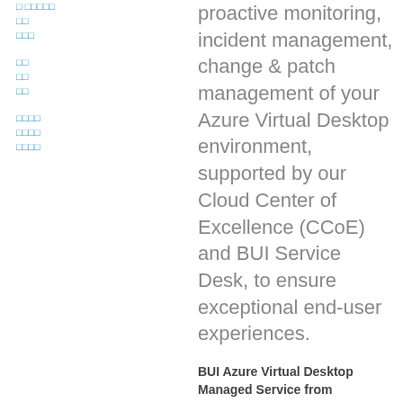□ □□□□□
□□
□□□
□□
□□
□□
□□□□
□□□□
□□□□
proactive monitoring, incident management, change & patch management of your Azure Virtual Desktop environment, supported by our Cloud Center of Excellence (CCoE) and BUI Service Desk, to ensure exceptional end-user experiences.
BUI Azure Virtual Desktop Managed Service from